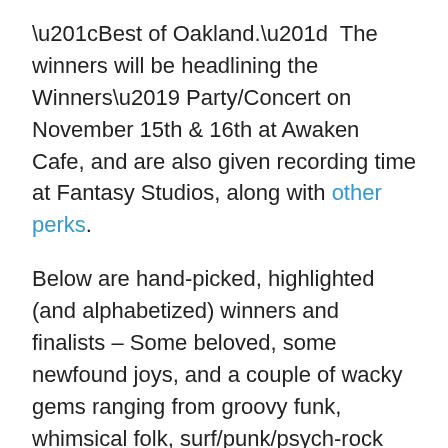“Best of Oakland.”  The winners will be headlining the Winners’ Party/Concert on November 15th & 16th at Awaken Cafe, and are also given recording time at Fantasy Studios, along with other perks.
Below are hand-picked, highlighted (and alphabetized) winners and finalists – Some beloved, some newfound joys, and a couple of wacky gems ranging from groovy funk, whimsical folk, surf/punk/psych-rock and “chill pop.” I’ve included commentary on any of the bands I’ve actually seen live; hopefully more so in the future.
My boyfriend, an Oakland resident, (does this mean I get some Oakland street cred?) introduced me to Bells Atlas. We saw them play an insane debut album release show back in June at The New Parish in Oakland. They have a huge and loving Oakland/Berkeley fan following, which